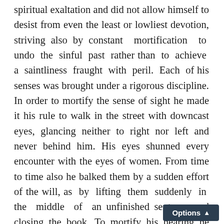spiritual exaltation and did not allow himself to desist from even the least or lowliest devotion, striving also by constant mortification to undo the sinful past rather than to achieve a saintliness fraught with peril. Each of his senses was brought under a rigorous discipline. In order to mortify the sense of sight he made it his rule to walk in the street with downcast eyes, glancing neither to right nor left and never behind him. His eyes shunned every encounter with the eyes of women. From time to time also he balked them by a sudden effort of the will, as by lifting them suddenly in the middle of an unfinished sentence and closing the book. To mortify his hearing he exerted no control over his voice which was then breaking, neither sang nor whistled, and made no attempt to flee from noises which caused him painful nervous irritation such as the sharpening of knives on the knife board, the gathering of cinders on the fire-shovel and the twigging of the carpet. To mortify his smell was more difficult as he found in